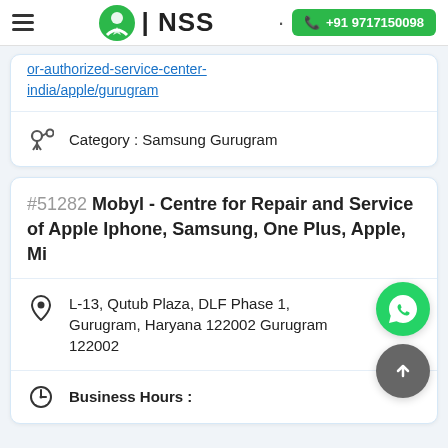NSS | +91 9717150098
or-authorized-service-center-india/apple/gurugram
Category : Samsung Gurugram
#51282 Mobyl - Centre for Repair and Service of Apple Iphone, Samsung, One Plus, Apple, Mi
L-13, Qutub Plaza, DLF Phase 1, Gurugram, Haryana 122002 Gurugram 122002
Business Hours :